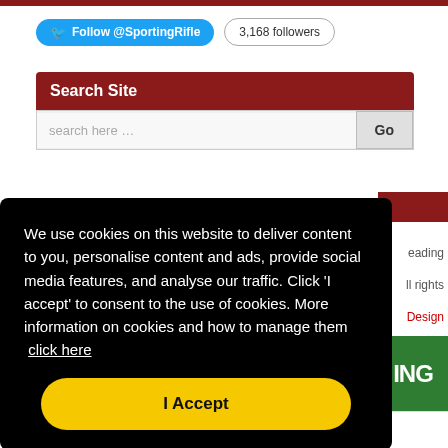[Figure (screenshot): Twitter Follow @SportingRifle button (blue, rounded) and '3,168 followers' count badge]
Search Site
[Figure (screenshot): Search input box with placeholder 'search here ...' and Go button]
We use cookies on this website to deliver content to you, personalise content and ads, provide social media features, and analyse our traffic. Click 'I accept' to consent to the use of cookies. More information on cookies and how to manage them  click here
I Accept